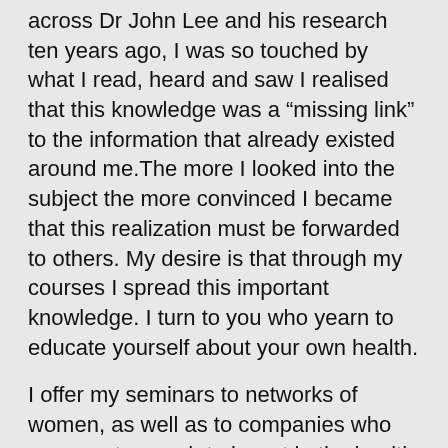across Dr John Lee and his research ten years ago, I was so touched by what I read, heard and saw I realised that this knowledge was a “missing link” to the information that already existed around me.The more I looked into the subject the more convinced I became that this realization must be forwarded to others. My desire is that through my courses I spread this important knowledge. I turn to you who yearn to educate yourself about your own health.
I offer my seminars to networks of women, as well as to companies who are smart enough to invest in the health of their staff, in places where you choose to gather. You will receive further training through my mailings and you can contact me with personal questions when you have taken the course.
When you are participating in one of my courses you will learn clearly and in easily understandable ways, among other things,